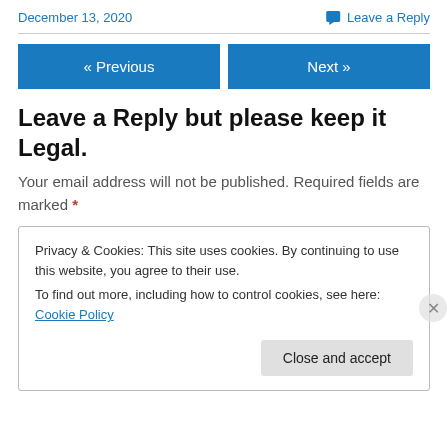December 13, 2020
Leave a Reply
« Previous
Next »
Leave a Reply but please keep it Legal.
Your email address will not be published. Required fields are marked *
Privacy & Cookies: This site uses cookies. By continuing to use this website, you agree to their use.
To find out more, including how to control cookies, see here: Cookie Policy